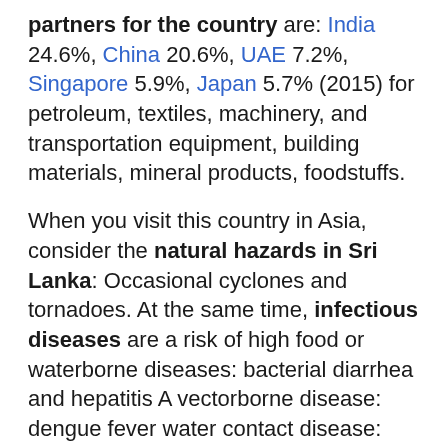partners for the country are: India 24.6%, China 20.6%, UAE 7.2%, Singapore 5.9%, Japan 5.7% (2015) for petroleum, textiles, machinery, and transportation equipment, building materials, mineral products, foodstuffs.
When you visit this country in Asia, consider the natural hazards in Sri Lanka: Occasional cyclones and tornadoes. At the same time, infectious diseases are a risk of high food or waterborne diseases: bacterial diarrhea and hepatitis A vectorborne disease: dengue fever water contact disease: leptospirosis animal contact disease: rabies (2016). Also, note that Sri Lanka faces the following environmental issues: Deforestation. Soil erosion, wildlife